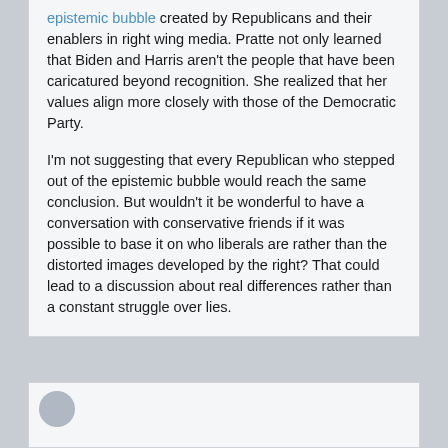epistemic bubble created by Republicans and their enablers in right wing media. Pratte not only learned that Biden and Harris aren't the people that have been caricatured beyond recognition. She realized that her values align more closely with those of the Democratic Party.
I'm not suggesting that every Republican who stepped out of the epistemic bubble would reach the same conclusion. But wouldn't it be wonderful to have a conversation with conservative friends if it was possible to base it on who liberals are rather than the distorted images developed by the right? That could lead to a discussion about real differences rather than a constant struggle over lies.
[Figure (other): Bottom of page showing beginning of another comment card with a circular avatar placeholder]